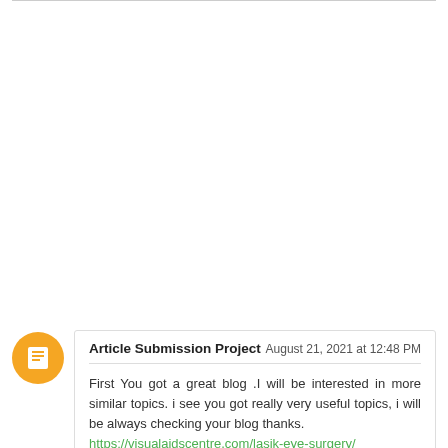Article Submission Project — August 21, 2021 at 12:48 PM — First You got a great blog .I will be interested in more similar topics. i see you got really very useful topics, i will be always checking your blog thanks. https://visualaidscentre.com/lasik-eye-surgery/